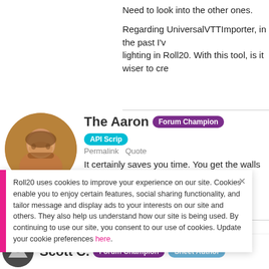Need to look into the other ones.
Regarding UniversalVTTImporter, in the past I've ... lighting in Roll20. With this tool, is it wiser to cre...
[Figure (photo): Round avatar photo of The Aaron, a bearded man]
The Aaron
Forum Champion | API Scrip...
Permalink   Quote
It certainly saves you time. You get the walls for... the walls and do the lights in Roll20.
Roll20 uses cookies to improve your experience on our site. Cookies enable you to enjoy certain features, social sharing functionality, and tailor message and display ads to your interests on our site and others. They also help us understand how our site is being used. By continuing to use our site, you consent to our use of cookies. Update your cookie preferences here.
[Figure (photo): Round avatar photo of Scott C., mountain/landscape icon]
Scott C.
Forum Champion | Sheet Author